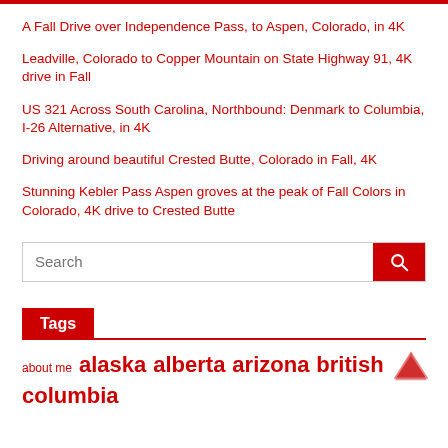A Fall Drive over Independence Pass, to Aspen, Colorado, in 4K
Leadville, Colorado to Copper Mountain on State Highway 91, 4K drive in Fall
US 321 Across South Carolina, Northbound: Denmark to Columbia, I-26 Alternative, in 4K
Driving around beautiful Crested Butte, Colorado in Fall, 4K
Stunning Kebler Pass Aspen groves at the peak of Fall Colors in Colorado, 4K drive to Crested Butte
Tags
about me  alaska  alberta  arizona  british columbia